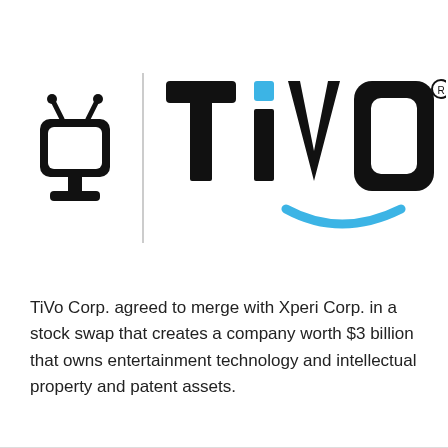[Figure (logo): TiVo logo: mascot icon of a small TV character on the left, a vertical dividing line, and the word TiVo in bold black letters with a blue smile arc beneath the V, and a registered trademark symbol.]
TiVo Corp. agreed to merge with Xperi Corp. in a stock swap that creates a company worth $3 billion that owns entertainment technology and intellectual property and patent assets.